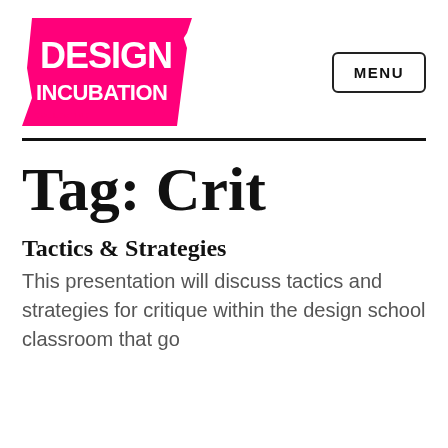[Figure (logo): Design Incubation logo — pink arrow/chevron shape with white text DESIGN INCUBATION]
MENU
Tag: Crit
Tactics & Strategies
This presentation will discuss tactics and strategies for critique within the design school classroom that go